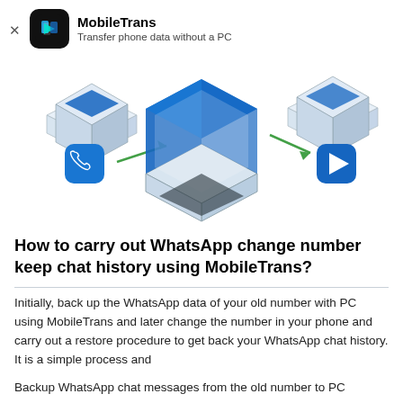MobileTrans — Transfer phone data without a PC
[Figure (illustration): Isometric illustration showing phone data transfer: a laptop in the center with blue-accented open lid, flanked by two smartphones on angled platforms, connected by green arrows, with blue rounded-square app icons (phone/call icon on left, play/video icon on right).]
How to carry out WhatsApp change number keep chat history using MobileTrans?
Initially, back up the WhatsApp data of your old number with PC using MobileTrans and later change the number in your phone and carry out a restore procedure to get back your WhatsApp chat history. It is a simple process and
Backup WhatsApp chat messages from the old number to PC